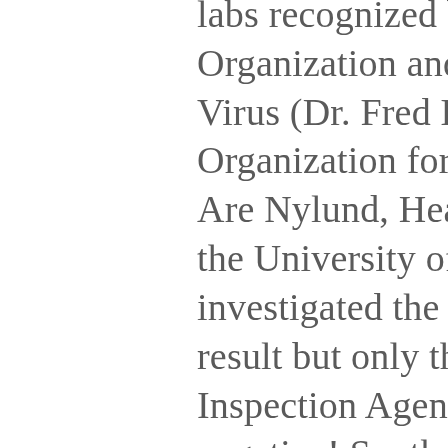labs recognized by the World Health Organization and entitled to test for the ISA Virus (Dr. Fred Kibenge, World Organization for Animal Health OIE and Dr. Are Nylund, Head of the Fish Diseases at the University of Bergen, Norway) investigated the samples with a positive result but only the lab of the Canadian Food Inspection Agency (CFIA) tested them negative! So, three world class labs tested positives and only the government lab couldn´t verify these findings?  .. things seemed very strange indeed.. During the Cohen commission it got clear that the Canadian government did everything not be listed as a country where the ISA broke out